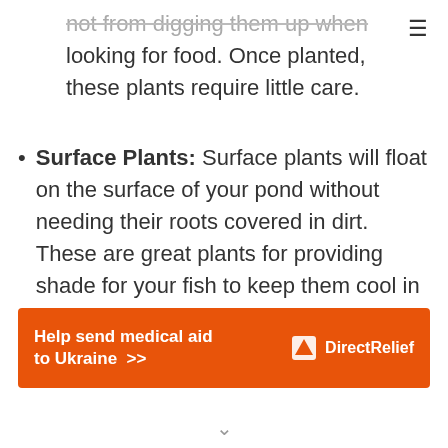not from digging them up when looking for food. Once planted, these plants require little care.
Surface Plants: Surface plants will float on the surface of your pond without needing their roots covered in dirt. These are great plants for providing shade for your fish to keep them cool in warm
[Figure (infographic): Orange advertisement banner: Help send medical aid to Ukraine >> with Direct Relief logo]
chevron down indicator